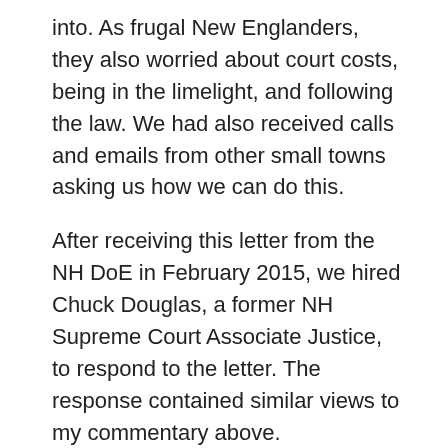into. As frugal New Englanders, they also worried about court costs, being in the limelight, and following the law. We had also received calls and emails from other small towns asking us how we can do this.
After receiving this letter from the NH DoE in February 2015, we hired Chuck Douglas, a former NH Supreme Court Associate Justice, to respond to the letter. The response contained similar views to my commentary above.
In the meantime, Greysan was doing so much better in Newport Montessori, which she had just started in the fall of 2014. According to her mom, they got their daughter back.
We didn't hear anything new from the NH DoE for quite a while after our response. In May, the Union Leader wrote an article about the Croydon situation, and in particular, wondering what the NH DoE was going to do. That sparked